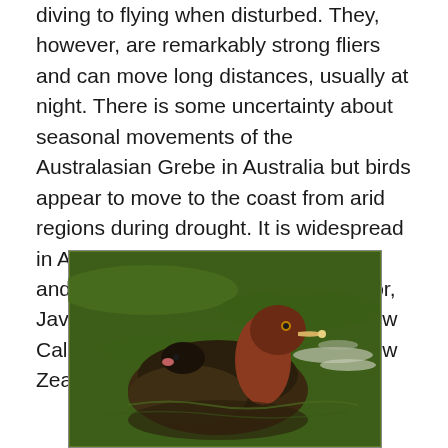diving to flying when disturbed. They, however, are remarkably strong fliers and can move long distances, usually at night. There is some uncertainty about seasonal movements of the Australasian Grebe in Australia but birds appear to move to the coast from arid regions during drought. It is widespread in Australia, though rare in Tasmania and also occurs in New Guinea, Timor, Java, the Solomons, Vanuatu and New Caledonia. The species colonised New Zealand in the 1970s.
[Figure (photo): Photograph of an Australasian Grebe swimming on water, with a small chick nestled on its back. The adult bird has reddish-brown plumage on its neck and dark body feathers. The background shows green water with ripples and some white foam.]